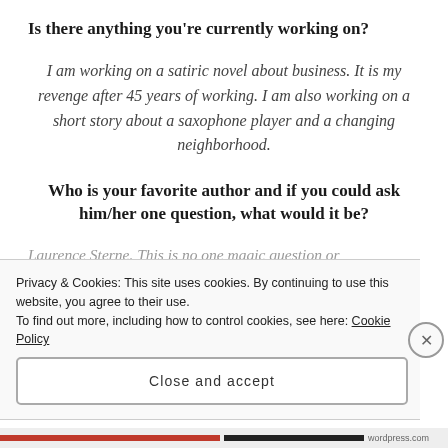Is there anything you’re currently working on?
I am working on a satiric novel about business. It is my revenge after 45 years of working. I am also working on a short story about a saxophone player and a changing neighborhood.
Who is your favorite author and if you could ask him/her one question, what would it be?
Laurence Sterne. This is no one magic question or
Privacy & Cookies: This site uses cookies. By continuing to use this website, you agree to their use.
To find out more, including how to control cookies, see here: Cookie Policy
Close and accept